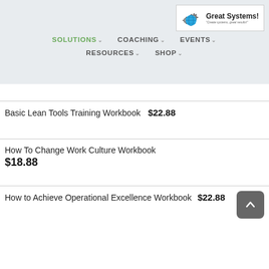SOLUTIONS ∨  COACHING ∨  EVENTS ∨  RESOURCES ∨  SHOP ∨
[Figure (logo): Great Systems! logo with gear icons and tagline 'Create systems, great results!']
Basic Lean Tools Training Workbook  $22.88
How To Change Work Culture Workbook  $18.88
How to Achieve Operational Excellence Workbook  $22.88